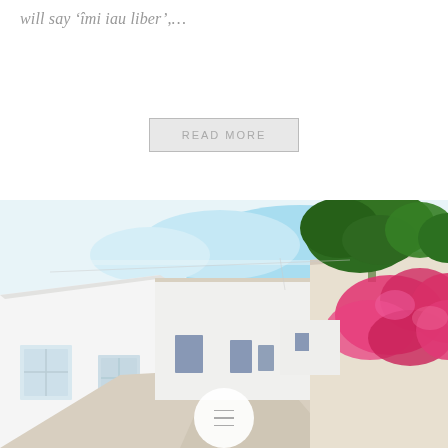will say 'îmi iau liber',…
READ MORE
[Figure (photo): Narrow white-washed Mediterranean village street with white buildings featuring blue-trimmed windows on the left, a low white wall with vibrant pink bougainvillea and a green tree on the right, and a road leading into the distance under a bright sky.]